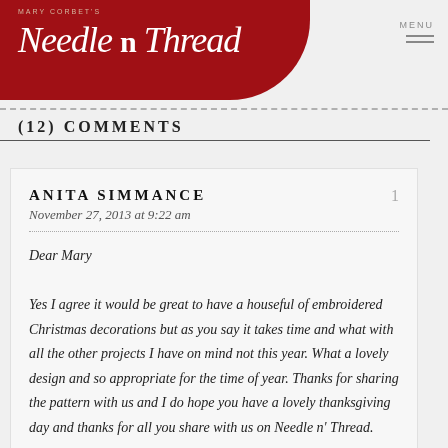Mary Corbet's Needle n Thread
(12) COMMENTS
ANITA SIMMANCE
November 27, 2013 at 9:22 am

Dear Mary

Yes I agree it would be great to have a houseful of embroidered Christmas decorations but as you say it takes time and what with all the other projects I have on mind not this year. What a lovely design and so appropriate for the time of year. Thanks for sharing the pattern with us and I do hope you have a lovely thanksgiving day and thanks for all you share with us on Needle n' Thread.